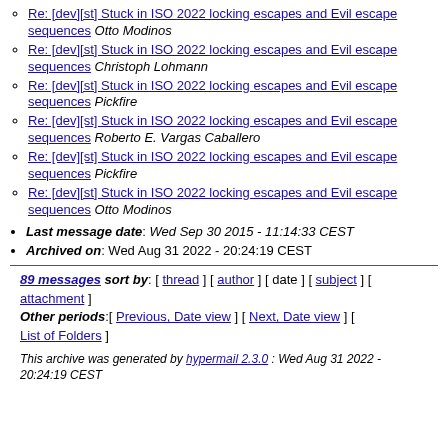Re: [dev][st] Stuck in ISO 2022 locking escapes and Evil escape sequences Otto Modinos
Re: [dev][st] Stuck in ISO 2022 locking escapes and Evil escape sequences Christoph Lohmann
Re: [dev][st] Stuck in ISO 2022 locking escapes and Evil escape sequences Pickfire
Re: [dev][st] Stuck in ISO 2022 locking escapes and Evil escape sequences Roberto E. Vargas Caballero
Re: [dev][st] Stuck in ISO 2022 locking escapes and Evil escape sequences Pickfire
Re: [dev][st] Stuck in ISO 2022 locking escapes and Evil escape sequences Otto Modinos
Last message date: Wed Sep 30 2015 - 11:14:33 CEST
Archived on: Wed Aug 31 2022 - 20:24:19 CEST
89 messages sort by: [ thread ] [ author ] [ date ] [ subject ] [ attachment ] Other periods:[ Previous, Date view ] [ Next, Date view ] [ List of Folders ]
This archive was generated by hypermail 2.3.0 : Wed Aug 31 2022 - 20:24:19 CEST